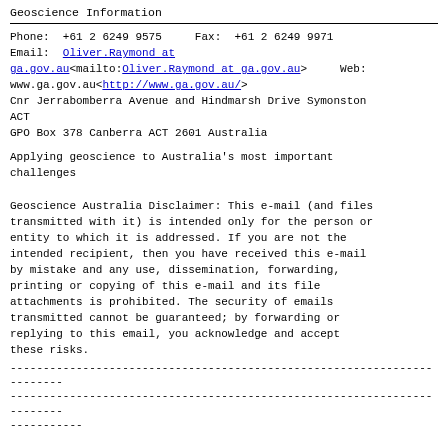Geoscience Information
Phone:  +61 2 6249 9575     Fax:  +61 2 6249 9971
Email:  Oliver.Raymond at ga.gov.au<mailto:Oliver.Raymond at ga.gov.au>     Web: www.ga.gov.au<http://www.ga.gov.au/>
Cnr Jerrabomberra Avenue and Hindmarsh Drive Symonston ACT
GPO Box 378 Canberra ACT 2601 Australia
Applying geoscience to Australia's most important challenges
Geoscience Australia Disclaimer: This e-mail (and files transmitted with it) is intended only for the person or entity to which it is addressed. If you are not the intended recipient, then you have received this e-mail by mistake and any use, dissemination, forwarding, printing or copying of this e-mail and its file attachments is prohibited. The security of emails transmitted cannot be guaranteed; by forwarding or replying to this email, you acknowledge and accept these risks.
------------------------------------------------------------------------
------------------------------------------------------------------------
-----------